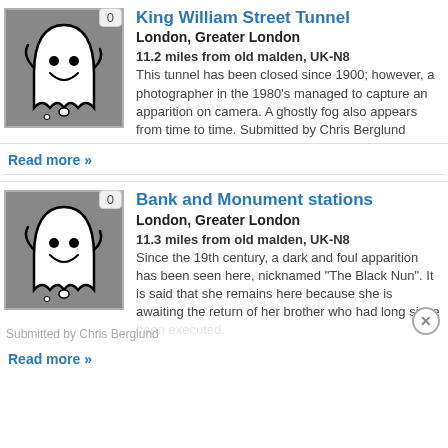[Figure (illustration): Cartoon ghost illustration on grey background with badge showing 0]
King William Street Tunnel
London, Greater London
11.2 miles from old malden, UK-N8
This tunnel has been closed since 1900; however, a photographer in the 1980's managed to capture an apparition on camera. A ghostly fog also appears from time to time. Submitted by Chris Berglund
Read more »
[Figure (illustration): Cartoon ghost illustration on grey background with badge showing 0]
Bank and Monument stations
London, Greater London
11.3 miles from old malden, UK-N8
Since the 19th century, a dark and foul apparition has been seen here, nicknamed "The Black Nun". It is said that she remains here because she is awaiting the return of her brother who had long since been executed.
Submitted by Chris Berglund
Read more »